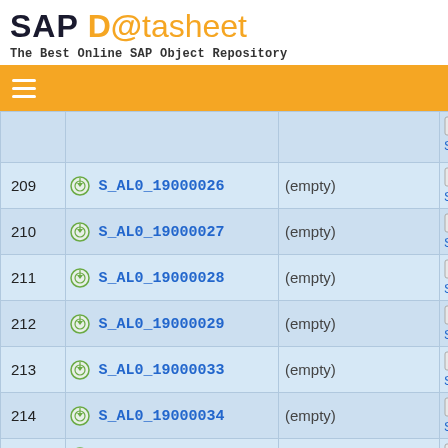SAP Datasheet - The Best Online SAP Object Repository
| # | Name | Description | Link |
| --- | --- | --- | --- |
| 209 | S_AL0_19000026 | (empty) | S... |
| 210 | S_AL0_19000027 | (empty) | S... |
| 211 | S_AL0_19000028 | (empty) | S... |
| 212 | S_AL0_19000029 | (empty) | S... |
| 213 | S_AL0_19000033 | (empty) | S... |
| 214 | S_AL0_19000034 | (empty) | S... |
| 215 | S_AL0_19000035 | (empty) | ... |